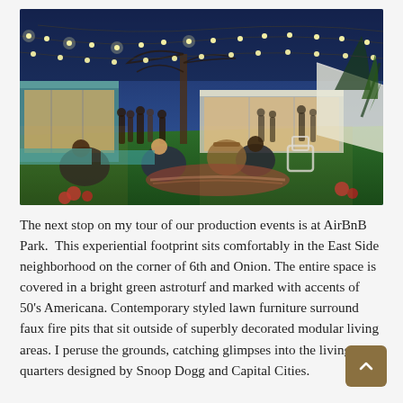[Figure (photo): Outdoor evening event at AirBnB Park showing people gathered on a green lawn area with string lights overhead, modular glass-walled structures on the sides, and seating areas with retro lawn furniture in the foreground.]
The next stop on my tour of our production events is at AirBnB Park.  This experiential footprint sits comfortably in the East Side neighborhood on the corner of 6th and Onion. The entire space is covered in a bright green astroturf and marked with accents of 50's Americana. Contemporary styled lawn furniture surround faux fire pits that sit outside of superbly decorated modular living areas. I peruse the grounds, catching glimpses into the living quarters designed by Snoop Dogg and Capital Cities.